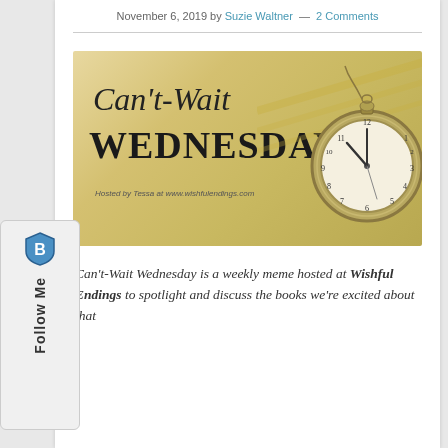November 6, 2019 by Suzie Waltner — 2 Comments
[Figure (illustration): Can't-Wait Wednesday banner image with a pocket watch on open books, sepia-toned background. Text reads 'Can't-Wait Wednesday' with script and block lettering, and subtitle 'Hosted by Tessa at www.wishfulendings.com']
Can't-Wait Wednesday is a weekly meme hosted at Wishful Endings to spotlight and discuss the books we're excited about that